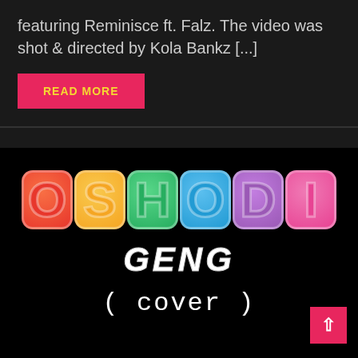featuring Reminisce ft. Falz. The video was shot & directed by Kola Bankz [...]
READ MORE
[Figure (illustration): Black background image with colorful bubble letters spelling OSHODI in rainbow colors, below it GENG in white bold italic, and ( cover ) in white monospace text. A pink scroll-to-top button is in the bottom right corner.]